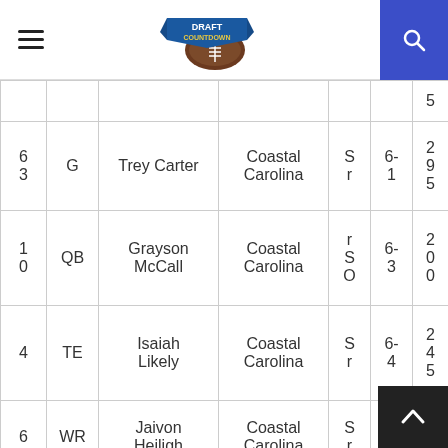Draft Countdown
| # | Pos | Name | School | Yr | Ht | Wt |
| --- | --- | --- | --- | --- | --- | --- |
|  |  |  |  |  |  | 5 |
| 63 | G | Trey Carter | Coastal Carolina | Sr | 6-1 | 295 |
| 10 | QB | Grayson McCall | Coastal Carolina | rSO | 6-3 | 200 |
| 4 | TE | Isaiah Likely | Coastal Carolina | Sr | 6-4 | 245 |
| 6 | WR | Jaivon Heiligh | Coastal Carolina | Sr | 6-2 | 20 |